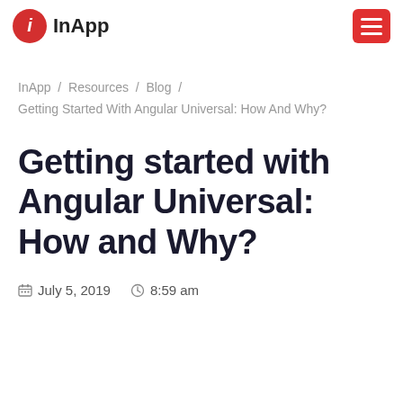InApp
InApp / Resources / Blog / Getting Started With Angular Universal: How And Why?
Getting started with Angular Universal: How and Why?
July 5, 2019  8:59 am